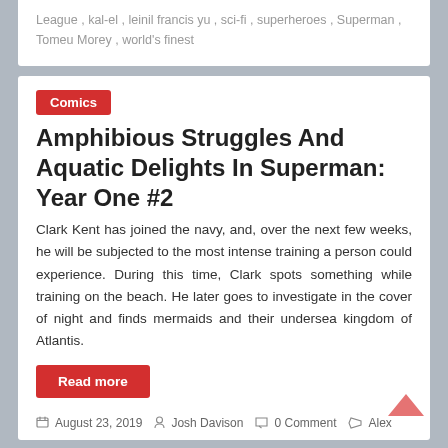League, kal-el, leinil francis yu, sci-fi, superheroes, Superman, Tomeu Morey, world's finest
Comics
Amphibious Struggles And Aquatic Delights In Superman: Year One #2
Clark Kent has joined the navy, and, over the next few weeks, he will be subjected to the most intense training a person could experience. During this time, Clark spots something while training on the beach. He later goes to investigate in the cover of night and finds mermaids and their undersea kingdom of Atlantis.
Read more
August 23, 2019  Josh Davison  0 Comment  Alex